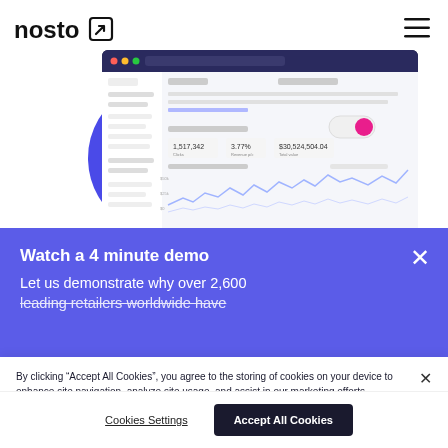[Figure (logo): Nosto logo with arrow icon in top left]
[Figure (screenshot): Dashboard analytics screenshot with blue arc decoration and pink toggle button]
Watch a 4 minute demo
Let us demonstrate why over 2,600 leading retailers worldwide have
By clicking “Accept All Cookies”, you agree to the storing of cookies on your device to enhance site navigation, analyze site usage, and assist in our marketing efforts.
Cookies Settings
Accept All Cookies